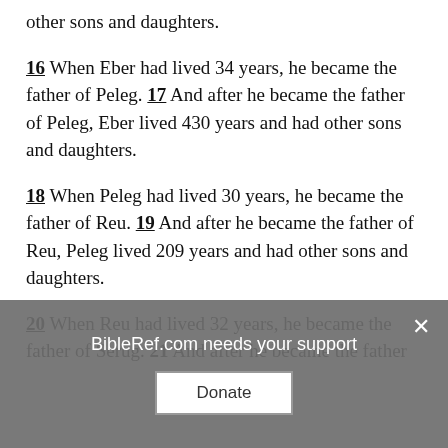other sons and daughters.
16 When Eber had lived 34 years, he became the father of Peleg. 17 And after he became the father of Peleg, Eber lived 430 years and had other sons and daughters.
18 When Peleg had lived 30 years, he became the father of Reu. 19 And after he became the father of Reu, Peleg lived 209 years and had other sons and daughters.
20 When Reu had lived 32 years, he became the father of Serug. 21 And after he became the father
BibleRef.com needs your support
Donate